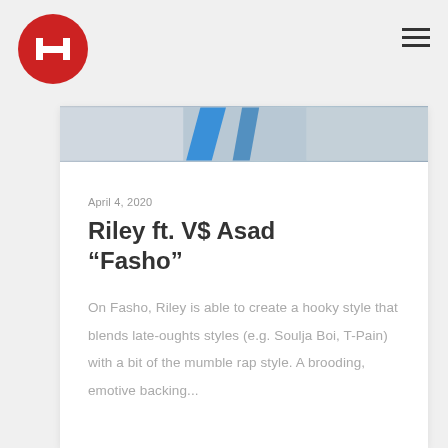[Figure (logo): Red circular logo with white letter H in center]
[Figure (illustration): Hamburger menu icon with three horizontal bars]
[Figure (photo): Partial photo strip at top of article card with blue accent shape]
April 4, 2020
Riley ft. V$ Asad “Fasho”
On Fasho, Riley is able to create a hooky style that blends late-oughts styles (e.g. Soulja Boi, T-Pain) with a bit of the mumble rap style. A brooding, emotive backing...